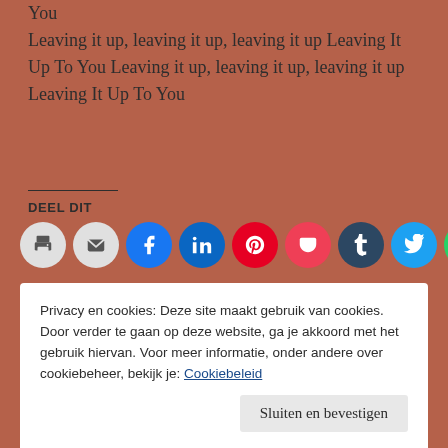You
Leaving it up, leaving it up, leaving it up Leaving It Up To You Leaving it up, leaving it up, leaving it up Leaving It Up To You
DEEL DIT
[Figure (other): Row of social media sharing icon circles: print, email, Facebook, LinkedIn, Pinterest, Pocket, Tumblr, Twitter, WhatsApp]
Laden...
Privacy en cookies: Deze site maakt gebruik van cookies. Door verder te gaan op deze website, ga je akkoord met het gebruik hiervan. Voor meer informatie, onder andere over cookiebeheer, bekijk je: Cookiebeleid
Sluiten en bevestigen